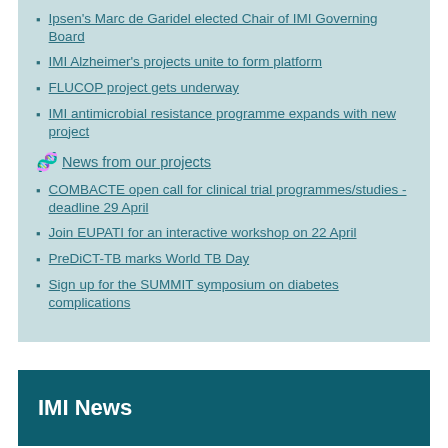Ipsen's Marc de Garidel elected Chair of IMI Governing Board
IMI Alzheimer's projects unite to form platform
FLUCOP project gets underway
IMI antimicrobial resistance programme expands with new project
News from our projects
COMBACTE open call for clinical trial programmes/studies - deadline 29 April
Join EUPATI for an interactive workshop on 22 April
PreDiCT-TB marks World TB Day
Sign up for the SUMMIT symposium on diabetes complications
IMI News